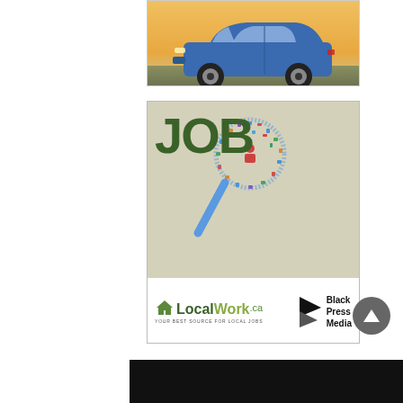[Figure (photo): Blue Subaru crossover/SUV car photographed outdoors at dusk, side profile view]
[Figure (illustration): Job search advertisement with large green JOB text and magnifying glass icon made of colorful icons, LocalWork.ca logo with tagline YOUR BEST SOURCE FOR LOCAL JOBS, and Black Press Media logo]
[Figure (other): Dark/black bar at the bottom of the page, partially visible]